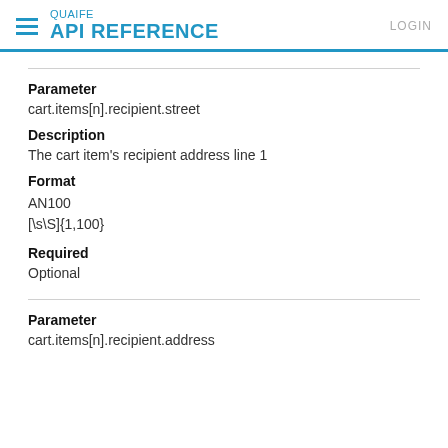QUAIFE API REFERENCE  LOGIN
Parameter
cart.items[n].recipient.street
Description
The cart item's recipient address line 1
Format
AN100
[\s\S]{1,100}
Required
Optional
Parameter
cart.items[n].recipient.address